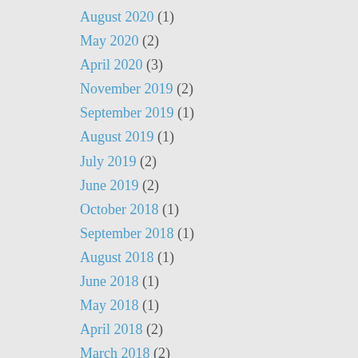August 2020 (1)
May 2020 (2)
April 2020 (3)
November 2019 (2)
September 2019 (1)
August 2019 (1)
July 2019 (2)
June 2019 (2)
October 2018 (1)
September 2018 (1)
August 2018 (1)
June 2018 (1)
May 2018 (1)
April 2018 (2)
March 2018 (2)
February 2018 (3)
November 2017 (1)
August 2017 (1)
July 2017 (1)
June 2017 (2)